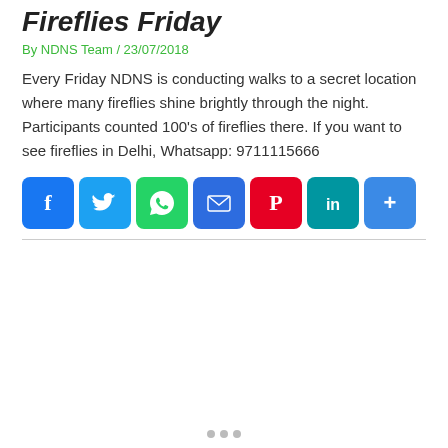Fireflies Friday
By NDNS Team / 23/07/2018
Every Friday NDNS is conducting walks to a secret location where many fireflies shine brightly through the night. Participants counted 100's of fireflies there. If you want to see fireflies in Delhi, Whatsapp: 9711115666
[Figure (infographic): A row of social media share buttons: Facebook (blue), Twitter (light blue), WhatsApp (green), Email (dark blue), Pinterest (red), LinkedIn (teal), Share/More (blue)]